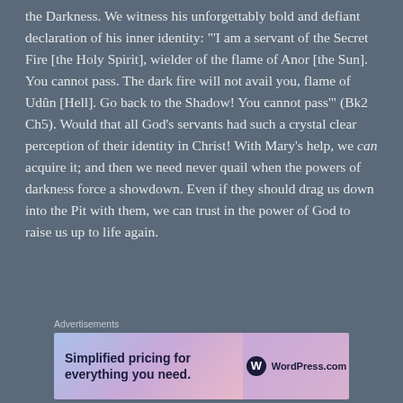the Darkness. We witness his unforgettably bold and defiant declaration of his inner identity: "‘I am a servant of the Secret Fire [the Holy Spirit], wielder of the flame of Anor [the Sun]. You cannot pass. The dark fire will not avail you, flame of Udûn [Hell]. Go back to the Shadow! You cannot pass’" (Bk2 Ch5). Would that all God’s servants had such a crystal clear perception of their identity in Christ! With Mary’s help, we can acquire it; and then we need never quail when the powers of darkness force a showdown. Even if they should drag us down into the Pit with them, we can trust in the power of God to raise us up to life again.
Advertisements
[Figure (other): WordPress.com advertisement banner: 'Simplified pricing for everything you need.' with WordPress.com logo on a pink/purple gradient background.]